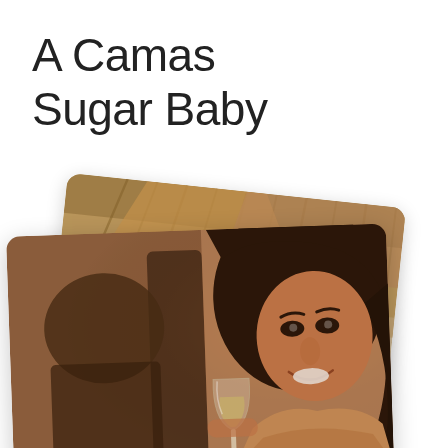A Camas Sugar Baby
[Figure (photo): Two overlapping photo cards: back card shows a tropical thatched-roof hut with palm trees and blue pool; front card shows a smiling dark-haired woman holding a wine glass in a warmly lit indoor setting.]